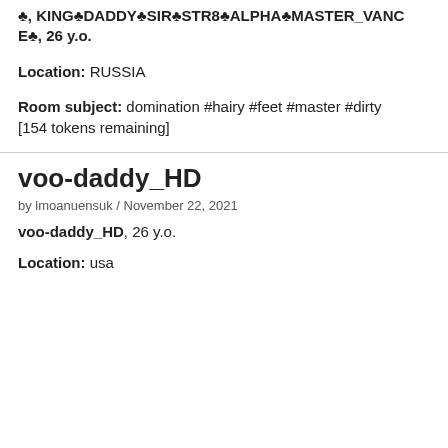♣, KING♣DADDY♣SIR♣STR8♣ALPHA♣MASTER_VANCE♣, 26 y.o.
Location: RUSSIA
Room subject: domination #hairy #feet #master #dirty [154 tokens remaining]
voo-daddy_HD
by lmoanuensuk / November 22, 2021
voo-daddy_HD, 26 y.o.
Location: usa